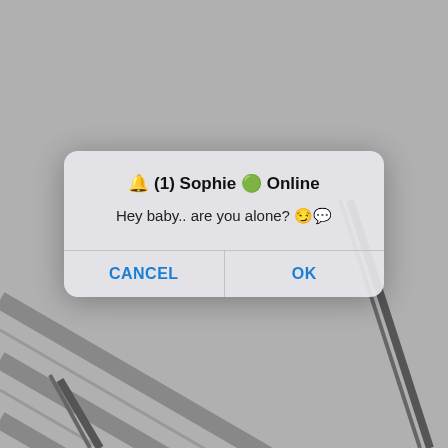[Figure (photo): Grayscale background photo of a woman in a bodysuit on stairs with metal railings]
🔔 (1) Sophie 🟢 Online
Hey baby.. are you alone? 😏💬
CANCEL
OK